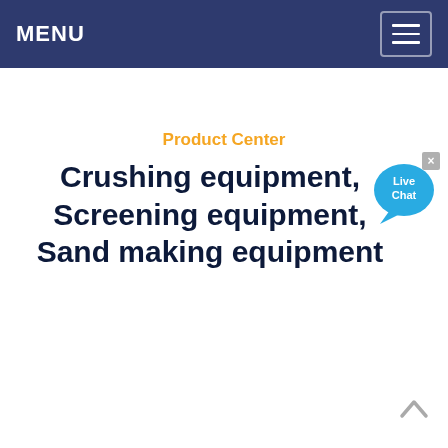MENU
Product Center
Crushing equipment, Screening equipment, Sand making equipment
[Figure (illustration): Live Chat speech bubble icon with text 'Live Chat' and a close button (×)]
[Figure (illustration): Scroll-to-top chevron/caret button at bottom right]